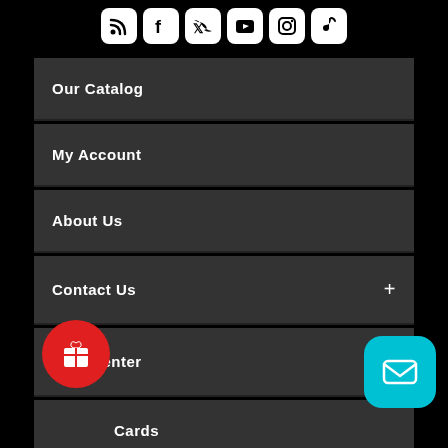[Figure (infographic): Row of social media icon buttons: RSS, Facebook, Twitter, YouTube, Instagram, TikTok]
Our Catalog
My Account
About Us
Contact Us +
Help Center +
Cards
Easy Returns
[Figure (illustration): Red circular gift/reward button with gift box icon (bottom left)]
[Figure (illustration): Cyan rounded square mail/email button with envelope icon (bottom right)]